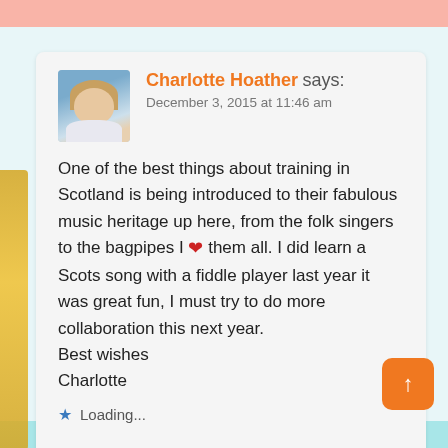Charlotte Hoather says: December 3, 2015 at 11:46 am
One of the best things about training in Scotland is being introduced to their fabulous music heritage up here, from the folk singers to the bagpipes I ❤ them all. I did learn a Scots song with a fiddle player last year it was great fun, I must try to do more collaboration this next year.
Best wishes
Charlotte
Loading...
Reply